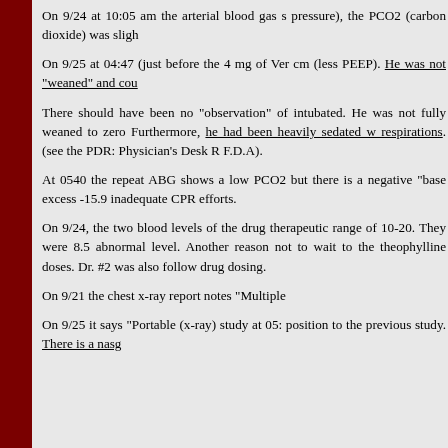On 9/24 at 10:05 am the arterial blood gas s... pressure), the PCO2 (carbon dioxide) was sligh...
On 9/25 at 04:47 (just before the 4 mg of Ver... cm (less PEEP). He was not "weaned" and cou...
There should have been no "observation" of ... intubated. He was not fully weaned to zero... Furthermore, he had been heavily sedated w... respirations. (see the PDR: Physician's Desk R... F.D.A).
At 0540 the repeat ABG shows a low PCO2 ... but there is a negative "base excess -15.9... inadequate CPR efforts.
On 9/24, the two blood levels of the drug ... therapeutic range of 10-20. They were 8.5 ... abnormal level. Another reason not to wait to... the theophylline doses. Dr. #2 was also follow... drug dosing.
On 9/21 the chest x-ray report notes "Multiple ...
On 9/25 it says "Portable (x-ray) study at 05:... position to the previous study. There is a nasg... ...